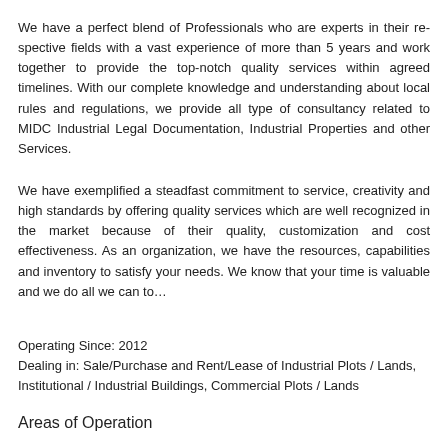We have a perfect blend of Professionals who are experts in their respective fields with a vast experience of more than 5 years and work together to provide the top-notch quality services within agreed timelines. With our complete knowledge and understanding about local rules and regulations, we provide all type of consultancy related to MIDC Industrial Legal Documentation, Industrial Properties and other Services.
We have exemplified a steadfast commitment to service, creativity and h... offering quality services which are well recognized in the market because of their quality, customization and cost effectiveness. As an organization, we have the resources, capabilities and inventory to satisfy your needs. We know that your time is valuable and we d...
Operating Since: 2012
Dealing in: Sale/Purchase and Rent/Lease of Industrial Plots / Lands, Institutional / Industrial Buildings, Commercial Plots / Lands
Areas of Operation
Thane
All Thane  •  Airoli  •  Ambarnath  •  Anand Nagar  •  Badlapur  •  Bh...
Dombivali Midc  •  Dombivli  •  Kalyan Bhiwandi Road  •  Kalyan Shilp...
Mira Bhayandar Road  •  Palghar  •  Tarapur  •  Thane Belapur Road
Navi Mumbai